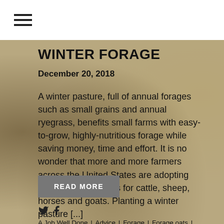≡ (hamburger menu icon)
WINTER FORAGE
December 20, 2018
A winter pasture, full of annual forages such as small grains and annual ryegrass, benefits small farms with easy-to-grow, highly-nutritious forage while saving money, time and effort. It is no wonder that more and more farmers across the United States are adopting winter grazing habits for cattle, sheep, horses and goats. Planting a winter pasture [...]
READ MORE
A Job Well Done | Advice | Forage | Forage oats | Pasture management | Production management | Productive Pastures | Property management